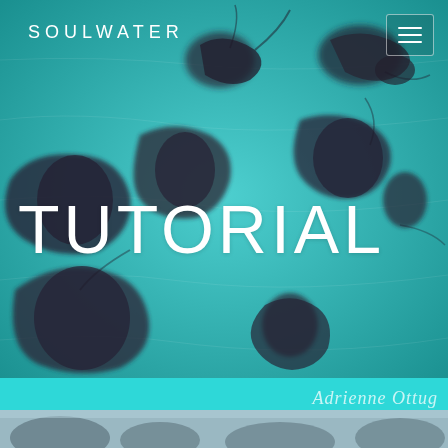SOULWATER
[Figure (photo): Aerial or top-down view of dark ink blob shapes floating on a teal/turquoise water-colored background, giving an abstract underwater or aerial impression]
TUTORIAL
[Figure (illustration): Teal banner strip with cursive/script signature text reading 'Adrienne Ottug' or similar name in light white lettering]
[Figure (photo): Bottom blurred photo strip showing outdoor scene with blurred foliage or rocks in muted blue-grey tones]